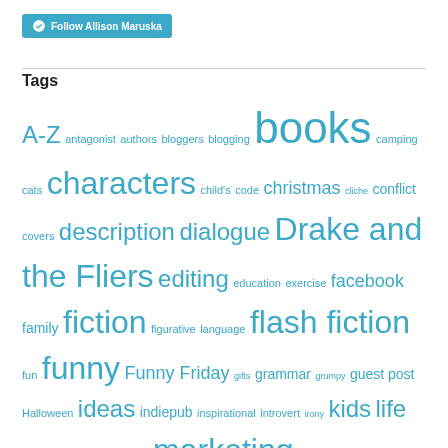Follow Allison Maruska
Tags
A-Z antagonist authors bloggers blogging books camping cats characters child's code christmas cliche conflict covers description dialogue Drake and the Fliers editing education exercise facebook family fiction figurative language flash fiction fun funny Funny Friday gifts grammar grumpy guest post Halloween ideas indiepub inspirational introvert irony kids life lists literary critiques marketing Myers Briggs owls parenting personality phone plot